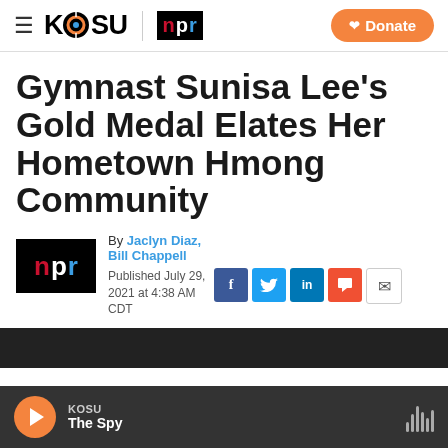KOSU | NPR — Donate
Gymnast Sunisa Lee's Gold Medal Elates Her Hometown Hmong Community
By Jaclyn Diaz, Bill Chappell
Published July 29, 2021 at 4:38 AM CDT
[Figure (photo): NPR logo and social share icons (Facebook, Twitter, LinkedIn, Flipboard, Email)]
[Figure (photo): Dark partial image at bottom of page, partially visible]
KOSU — The Spy (audio player bar)